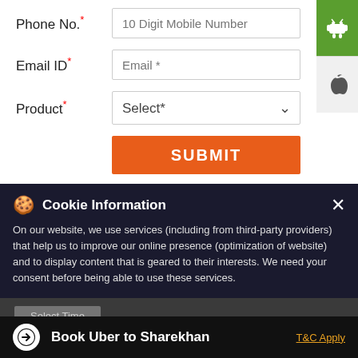Phone No.*
10 Digit Mobile Number
Email ID*
Email *
Product*
Select*
SUBMIT
This location is closed. Please check out the Nearby Locations below
Cookie Information
On our website, we use services (including from third-party providers) that help us to improve our online presence (optimization of website) and to display content that is geared to their interests. We need your consent before being able to use these services.
Book Uber to Sharekhan
T&C Apply